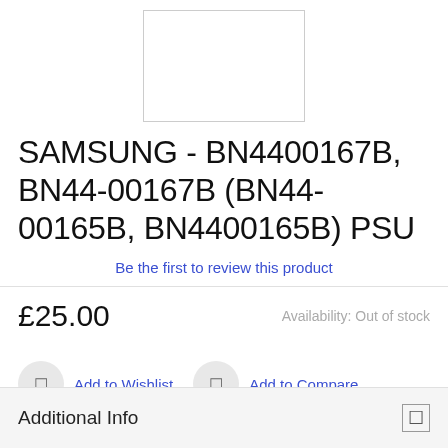[Figure (photo): Product image placeholder (white rectangle with border)]
SAMSUNG - BN4400167B, BN44-00167B (BN44-00165B, BN4400165B) PSU
Be the first to review this product
£25.00
Availability: Out of stock
Add to Wishlist
Add to Compare
Additional Info